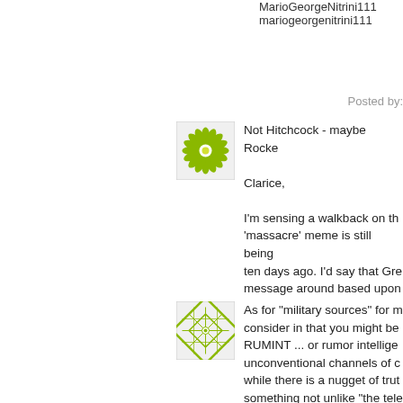MarioGeorgeNitrini111
mariogeorgenitrini111
Posted by:
[Figure (illustration): Green flower/mandala pattern avatar icon]
Not Hitchcock - maybe Rocke

Clarice,

I'm sensing a walkback on th 'massacre' meme is still being ten days ago. I'd say that Gre message around based upon
[Figure (illustration): Green geometric lattice pattern avatar icon]
As for "military sources" for m consider in that you might be RUMINT ... or rumor intellige unconventional channels of c while there is a nugget of trut something not unlike "the tele